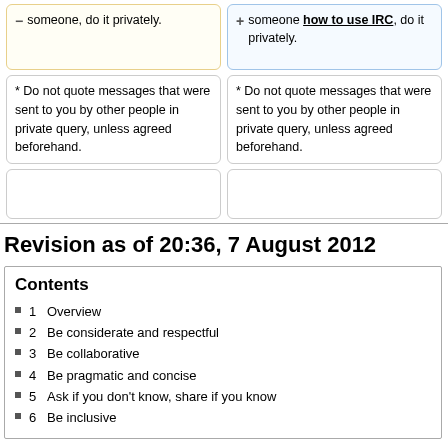— someone, do it privately.
+ someone how to use IRC, do it privately.
* Do not quote messages that were sent to you by other people in private query, unless agreed beforehand.
* Do not quote messages that were sent to you by other people in private query, unless agreed beforehand.
Revision as of 20:36, 7 August 2012
Contents
1  Overview
2  Be considerate and respectful
3  Be collaborative
4  Be pragmatic and concise
5  Ask if you don't know, share if you know
6  Be inclusive